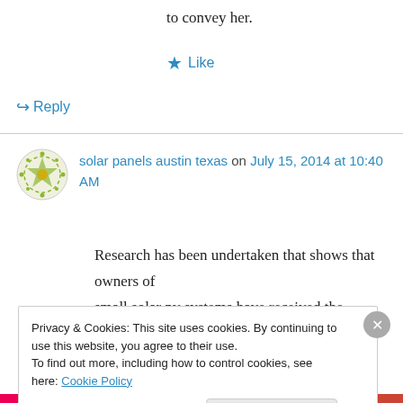to convey her.
★ Like
↪ Reply
solar panels austin texas on July 15, 2014 at 10:40 AM
Research has been undertaken that shows that owners of small solar pv systems have received the
Privacy & Cookies: This site uses cookies. By continuing to use this website, you agree to their use.
To find out more, including how to control cookies, see here: Cookie Policy
Close and accept